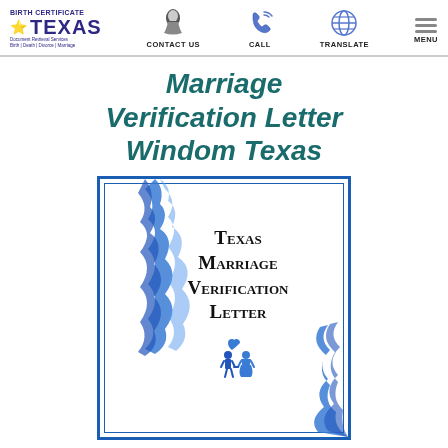BIRTH CERTIFICATE TEXAS - Document Retrieval Services Birth | Death | Divorce | Marriage | CONTACT US | CALL | TRANSLATE | MENU
Marriage Verification Letter Windom Texas
[Figure (illustration): Document card with blue ribbon decoration showing 'Texas Marriage Verification Letter' in blackletter font with a couple icon below]